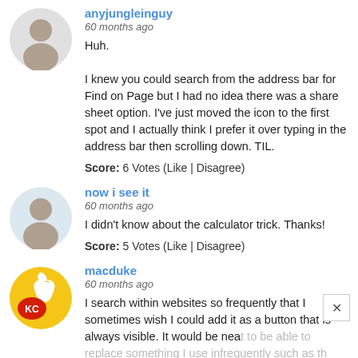[Figure (illustration): Default user avatar for anyjungleinguy - grey silhouette of person in circle]
anyjungleinguy
60 months ago
Huh.

I knew you could search from the address bar for Find on Page but I had no idea there was a share sheet option. I've just moved the icon to the first spot and I actually think I prefer it over typing in the address bar then scrolling down. TIL.
Score: 6 Votes (Like | Disagree)
[Figure (illustration): Default user avatar for now i see it - grey silhouette of person in circle with light blue background]
now i see it
60 months ago
I didn't know about the calculator trick. Thanks!
Score: 5 Votes (Like | Disagree)
[Figure (logo): macduke user avatar - yellow circle with Kansas City Chiefs logo and Apple logo]
macduke
60 months ago
I search within websites so frequently that I sometimes wish I could add it as a button that is always visible. It would be neat to be able to replace something I use infrequently such as the bookmarks button for search or another shortcut. That would be a cool feature in iOS 12.